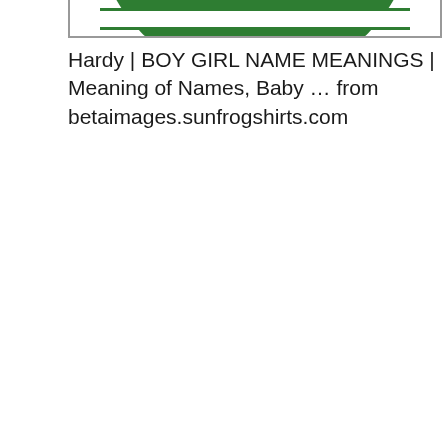[Figure (illustration): Partial view of a circular green logo/badge with a white banner, shown cropped at the top of the page inside a light gray bordered frame.]
Hardy | BOY GIRL NAME MEANINGS | Meaning of Names, Baby ... from betaimages.sunfrogshirts.com